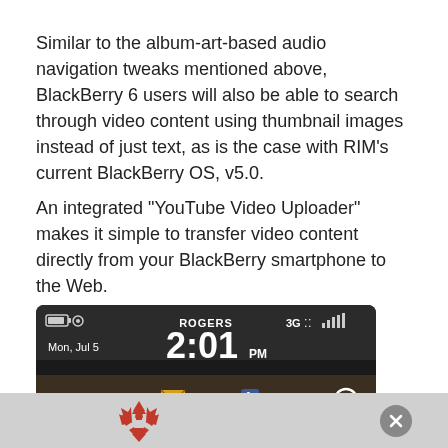Similar to the album-art-based audio navigation tweaks mentioned above, BlackBerry 6 users will also be able to search through video content using thumbnail images instead of just text, as is the case with RIM's current BlackBerry OS, v5.0.
An integrated “YouTube Video Uploader” makes it simple to transfer video content directly from your BlackBerry smartphone to the Web.
[Figure (screenshot): BlackBerry smartphone screen showing Rogers carrier, 3G signal, time 2:01 PM on Mon Jul 5, with 9 email messages and 1 Facebook notification icons, and a search icon.]